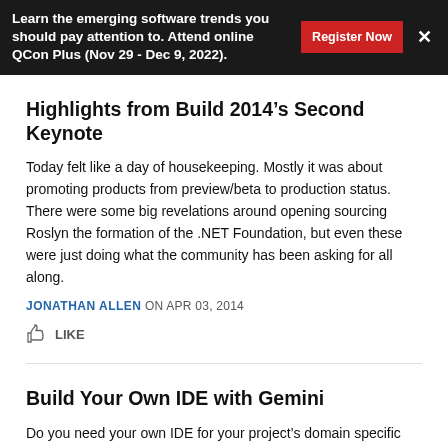Learn the emerging software trends you should pay attention to. Attend online QCon Plus (Nov 29 - Dec 9, 2022).
Highlights from Build 2014’s Second Keynote
Today felt like a day of housekeeping. Mostly it was about promoting products from preview/beta to production status. There were some big revelations around opening sourcing Roslyn the formation of the .NET Foundation, but even these were just doing what the community has been asking for all along.
JONATHAN ALLEN ON APR 03, 2014
LIKE
Build Your Own IDE with Gemini
Do you need your own IDE for your project’s domain specific language? One option is Visual Studio Shell, but that is often far too massive to deploy and can be difficult to work with. A lightweight alternative is the Gemini